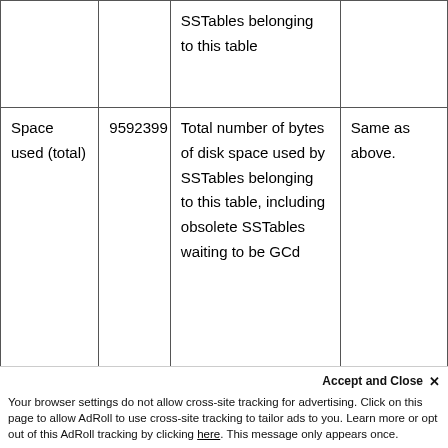|  |  |  |  |
| --- | --- | --- | --- |
|  |  | SSTables belonging to this table |  |
| Space used (total) | 9592399 | Total number of bytes of disk space used by SSTables belonging to this table, including obsolete SSTables waiting to be GCd | Same as above. |
Accept and Close ×
Your browser settings do not allow cross-site tracking for advertising. Click on this page to allow AdRoll to use cross-site tracking to tailor ads to you. Learn more or opt out of this AdRoll tracking by clicking here. This message only appears once.